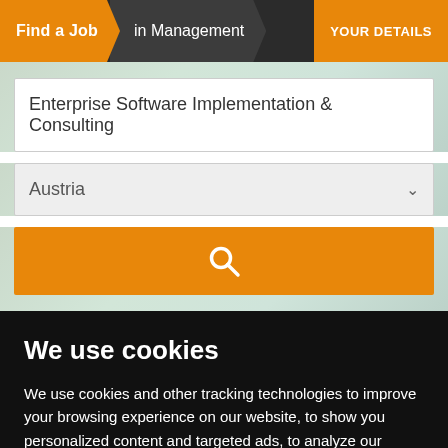Find a Job in Management | YOUR DETAILS
Enterprise Software Implementation & Consulting
Austria
[Figure (screenshot): Orange search button with magnifying glass icon]
We use cookies
We use cookies and other tracking technologies to improve your browsing experience on our website, to show you personalized content and targeted ads, to analyze our website traffic, and to